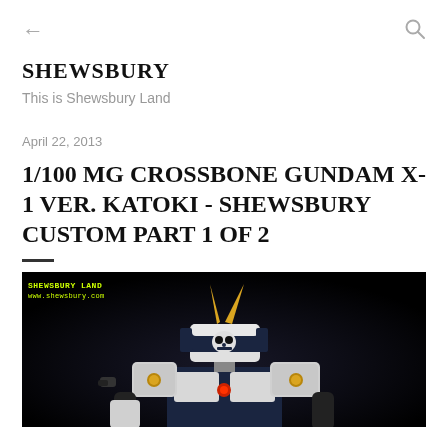← (back) | (search icon)
SHEWSBURY
This is Shewsbury Land
April 22, 2013
1/100 MG CROSSBONE GUNDAM X-1 VER. KATOKI - SHEWSBURY CUSTOM PART 1 OF 2
[Figure (photo): Photo of a Crossbone Gundam X-1 model figure (Gunpla) against a dark background. The model is white and dark navy blue/black, with a skull motif on the head and yellow antenna/horn. Watermark reads 'SHEWSBURY LAND / www.shewsbury.com' in yellow-green monospace text at top left.]